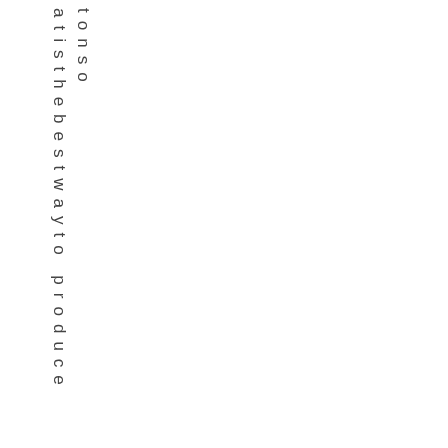atisthebest way to produce tonso